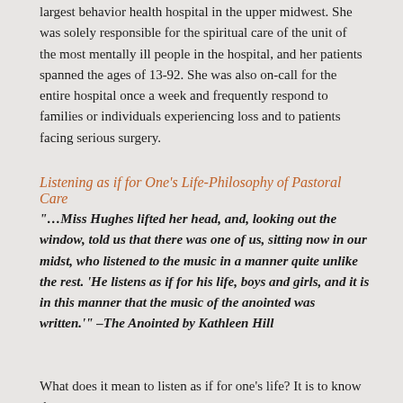largest behavior health hospital in the upper midwest.  She was solely responsible for the spiritual care of the unit of the most mentally ill people in the hospital, and her patients spanned the ages of 13-92.  She was also on-call for the entire hospital once a week and frequently respond to families or individuals experiencing loss and to patients facing serious surgery.
Listening as if for One's Life-Philosophy of Pastoral Care
“…Miss Hughes lifted her head, and, looking out the window, told us that there was one of us, sitting now in our midst, who listened to the music in a manner quite unlike the rest.  ‘He listens as if for his life, boys and girls, and it is in this manner that the music of the anointed was written.’”  –The Anointed by Kathleen Hill
What does it mean to listen as if for one’s life?  It is to know that your